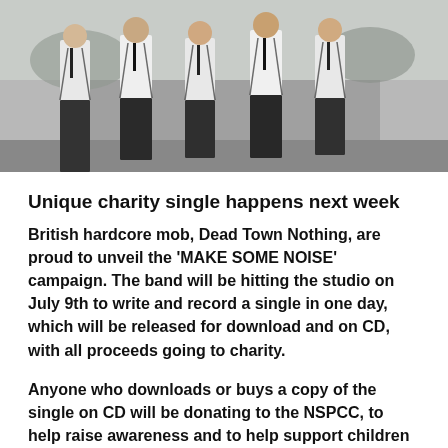[Figure (photo): Group of young men in white shirts and dark trousers with suspenders/ties standing in a row outdoors]
Unique charity single happens next week
British hardcore mob, Dead Town Nothing, are proud to unveil the 'MAKE SOME NOISE' campaign. The band will be hitting the studio on July 9th to write and record a single in one day, which will be released for download and on CD, with all proceeds going to charity.
Anyone who downloads or buys a copy of the single on CD will be donating to the NSPCC, to help raise awareness and to help support children who are suffering as a result of child abuse.